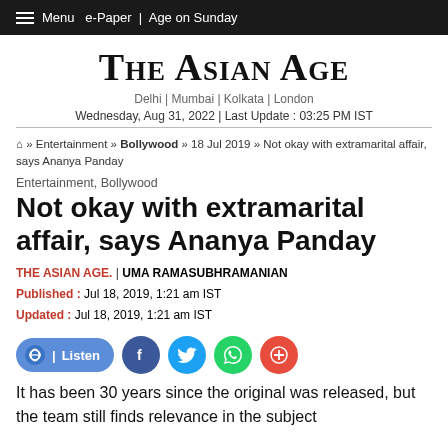Menu  e-Paper | Age on Sunday
The Asian Age
Delhi | Mumbai | Kolkata | London
Wednesday, Aug 31, 2022 | Last Update : 03:25 PM IST
Home » Entertainment » Bollywood » 18 Jul 2019 » Not okay with extramarital affair, says Ananya Panday
Entertainment, Bollywood
Not okay with extramarital affair, says Ananya Panday
THE ASIAN AGE. | UMA RAMASUBHRAMANIAN
Published : Jul 18, 2019, 1:21 am IST
Updated : Jul 18, 2019, 1:21 am IST
[Figure (infographic): Social sharing bar with Listen button, Facebook, Twitter, WhatsApp, and Comments icons]
It has been 30 years since the original was released, but the team still finds relevance in the subject